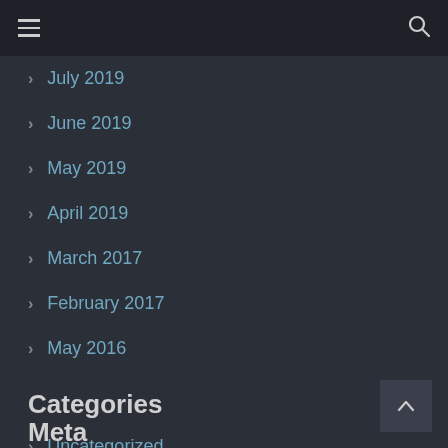≡   🔍
> July 2019
> June 2019
> May 2019
> April 2019
> March 2017
> February 2017
> May 2016
Categories
> Uncategorized
Meta